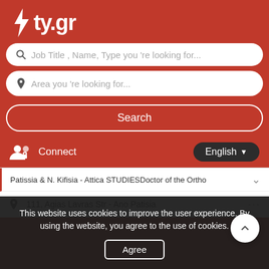ty.gr
Job Title , Name, Type you 're looking for...
Area you 're looking for...
Search
Connect   English
Patissia & N. Kifisia - Attica STUDIESDoctor of the Ortho
111, Agias Lavras Str - Ano Patisia
This website uses cookies to improve the user experience. By using the website, you agree to the use of cookies.
Agree